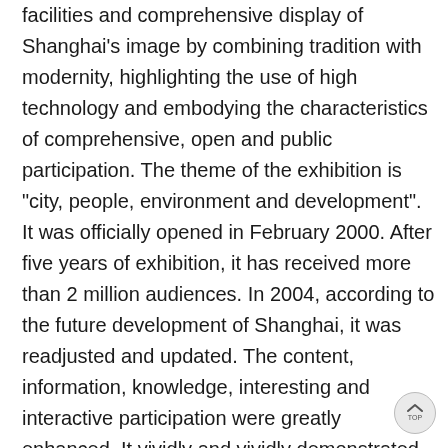facilities and comprehensive display of Shanghai's image by combining tradition with modernity, highlighting the use of high technology and embodying the characteristics of comprehensive, open and public participation. The theme of the exhibition is "city, people, environment and development". It was officially opened in February 2000. After five years of exhibition, it has received more than 2 million audiences. In 2004, according to the future development of Shanghai, it was readjusted and updated. The content, information, knowledge, interesting and interactive participation were greatly enhanced. It vividly and vividly demonstrated that the Shanghai Urban Planning Exhibition Hall, located on the east side of the People's Square Municipal Government Building and the north side of the People's Park, was in 2020. It is an important window to show the achievements of Shanghai's urban planning and